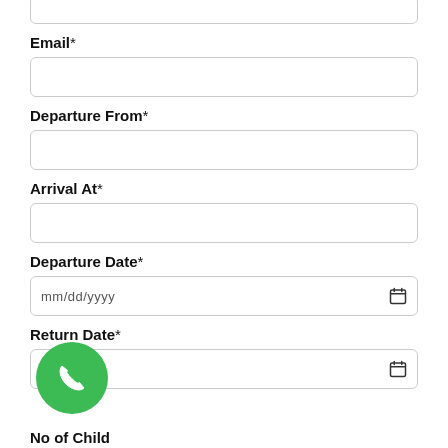Email*
Departure From*
Arrival At*
Departure Date*
mm/dd/yyyy
Return Date*
d/yyyy
No of Child